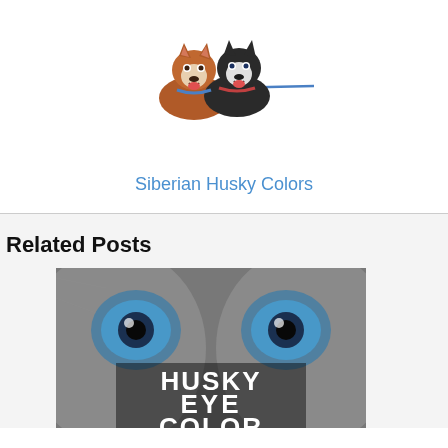[Figure (photo): Two Siberian Huskies on leash, one brown and white, one black and white, mouths open]
Siberian Husky Colors
Related Posts
[Figure (photo): Close-up of Husky eyes with text overlay reading HUSKY EYE COLOR]